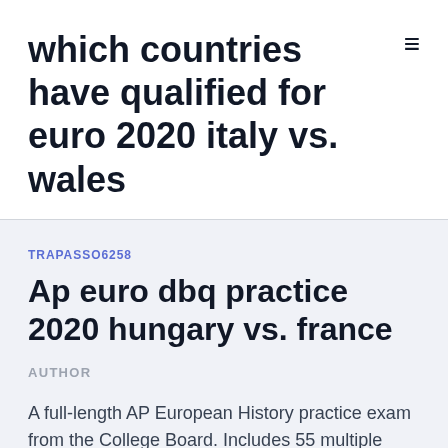which countries have qualified for euro 2020 italy vs. wales
TRAPASSO6258
Ap euro dbq practice 2020 hungary vs. france
AUTHOR
A full-length AP European History practice exam from the College Board. Includes 55 multiple choice